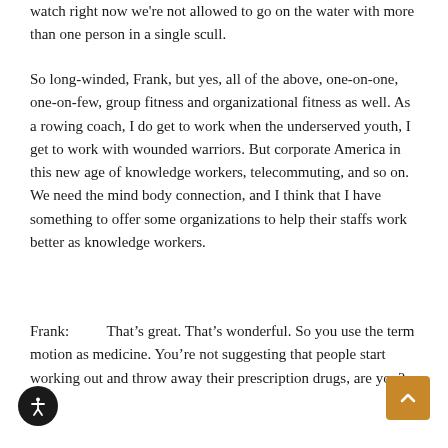watch right now we're not allowed to go on the water with more than one person in a single scull.
So long-winded, Frank, but yes, all of the above, one-on-one, one-on-few, group fitness and organizational fitness as well. As a rowing coach, I do get to work when the underserved youth, I get to work with wounded warriors. But corporate America in this new age of knowledge workers, telecommuting, and so on. We need the mind body connection, and I think that I have something to offer some organizations to help their staffs work better as knowledge workers.
Frank:          That’s great. That’s wonderful. So you use the term motion as medicine. You’re not suggesting that people start working out and throw away their prescription drugs, are you?